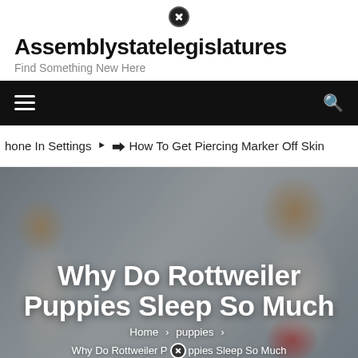Assemblystatelegislatures – Find Something New Here
Navigation bar with hamburger menu and search icon
hone In Settings  ➔  How To Get Piercing Marker Off Skin
[Figure (photo): Hero image of two people (man on left, smiling woman in red apron on right) in a blurred background, overlaid with article title text and breadcrumb navigation]
Why Do Rottweiler Puppies Sleep So Much
Home > puppies > Why Do Rottweiler Puppies Sleep So Much